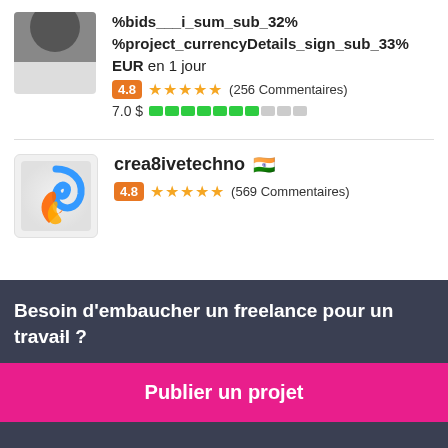%bids___i_sum_sub_32%
%project_currencyDetails_sign_sub_33%
EUR en 1 jour
4.8 ★★★★★ (256 Commentaires)
7.0 $ ■■■■■■■□□□
crea8ivetechno 🇮🇳
4.8 ★★★★★ (569 Commentaires)
Besoin d'embaucher un freelance pour un travail ?
Publier un projet